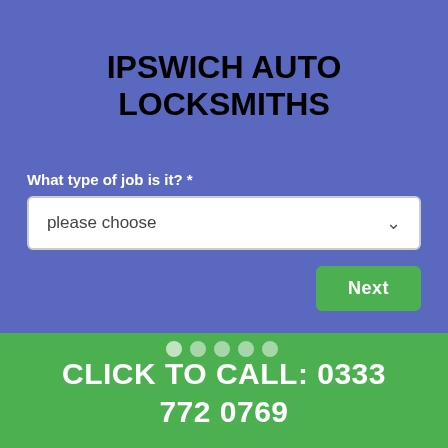IPSWICH AUTO LOCKSMITHS
What type of job is it? *
please choose
Next
[Figure (other): Six pagination dots indicating step 1 of 6 in a multi-step form]
CLICK TO CALL: 0333 772 0769